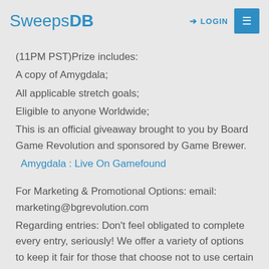SweepsDB  LOGIN ☰
(11PM PST)Prize includes:
A copy of Amygdala;
All applicable stretch goals;
Eligible to anyone Worldwide;
This is an official giveaway brought to you by Board Game Revolution and sponsored by Game Brewer.
Amygdala : Live On Gamefound
For Marketing & Promotional Options: email:
marketing@bgrevolution.com
Regarding entries: Don't feel obligated to complete every entry, seriously! We offer a variety of options to keep it fair for those that choose not to use certain platforms. If you have issues with gleam saving your entries try this:  copy & paste the gleam contest link into a